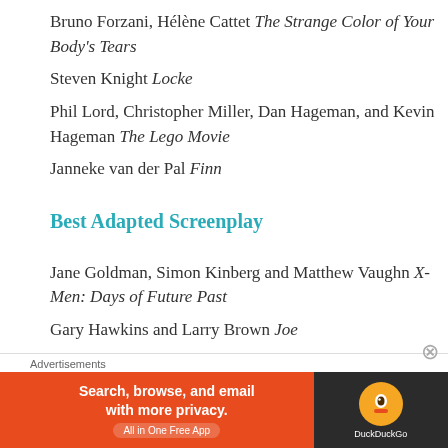Bruno Forzani, Hélène Cattet The Strange Color of Your Body's Tears
Steven Knight Locke
Phil Lord, Christopher Miller, Dan Hageman, and Kevin Hageman The Lego Movie
Janneke van der Pal Finn
Best Adapted Screenplay
Jane Goldman, Simon Kinberg and Matthew Vaughn X-Men: Days of Future Past
Gary Hawkins and Larry Brown Joe
James Lapine Into the Woods
[Figure (infographic): DuckDuckGo advertisement banner: orange background with text 'Search, browse, and email with more privacy. All in One Free App' and DuckDuckGo logo on dark background.]